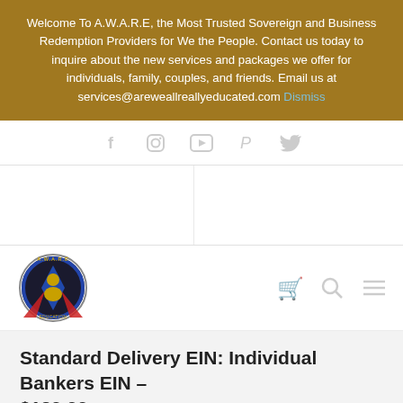Welcome To A.W.A.R.E, the Most Trusted Sovereign and Business Redemption Providers for We the People. Contact us today to inquire about the new services and packages we offer for individuals, family, couples, and friends. Email us at services@areweallreallyeducated.com Dismiss
[Figure (other): Social media icons row: Facebook, Instagram, YouTube, Pinterest, Twitter]
[Figure (logo): A.W.A.R.E circular logo with figure and star design]
Standard Delivery EIN: Individual Bankers EIN – $139.99